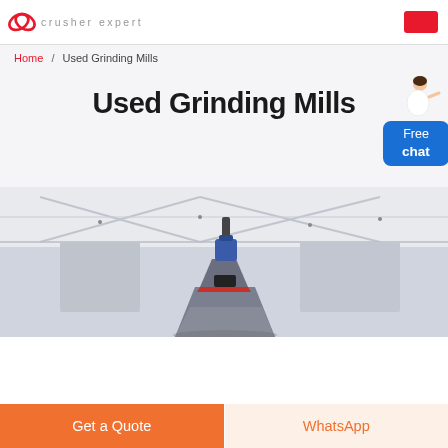crusher expert
Home / Used Grinding Mills
Used Grinding Mills
[Figure (photo): Close-up photograph of industrial grinding mill equipment, showing the top of a cone/vertical mill with blue and red components, inside an industrial warehouse with a white truss ceiling.]
Get a Quote | WhatsApp